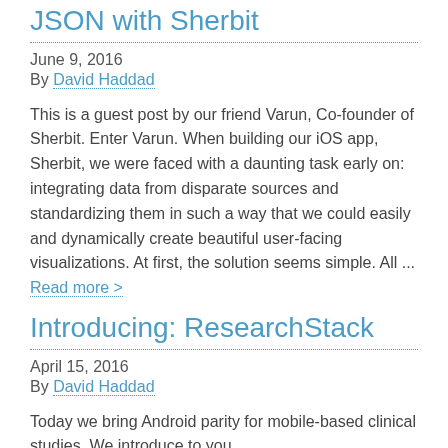JSON with Sherbit
June 9, 2016
By David Haddad
This is a guest post by our friend Varun, Co-founder of Sherbit. Enter Varun. When building our iOS app, Sherbit, we were faced with a daunting task early on: integrating data from disparate sources and standardizing them in such a way that we could easily and dynamically create beautiful user-facing visualizations. At first, the solution seems simple. All ... Read more >
Introducing: ResearchStack
April 15, 2016
By David Haddad
Today we bring Android parity for mobile-based clinical studies. We introduce to you